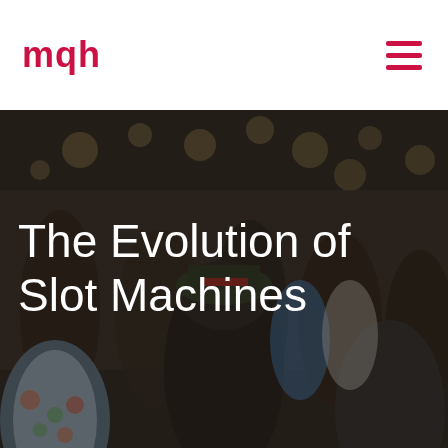mqh
[Figure (photo): Blurred crowd of people at an outdoor event with string lights overhead, serving as a dark background image for the page hero section]
The Evolution of Slot Machines